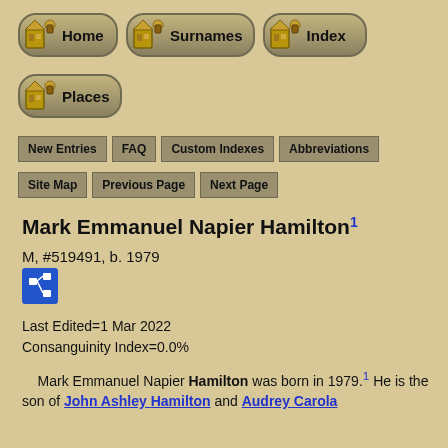[Figure (infographic): Navigation buttons: Home, Surnames, Index (row 1), Places (row 2)]
[Figure (infographic): Text navigation buttons: New Entries, FAQ, Custom Indexes, Abbreviations (row 1), Site Map, Previous Page, Next Page (row 2)]
Mark Emmanuel Napier Hamilton
M, #519491, b. 1979
[Figure (infographic): Kinship/pedigree icon button (blue square with family tree symbol)]
Last Edited=1 Mar 2022
Consanguinity Index=0.0%
Mark Emmanuel Napier Hamilton was born in 1979.[1] He is the son of John Ashley Hamilton and Audrey Carola